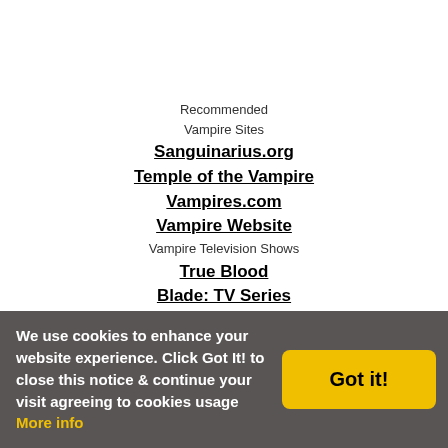Recommended
Vampire Sites
Sanguinarius.org
Temple of the Vampire
Vampires.com
Vampire Website
Vampire Television Shows
True Blood
Blade: TV Series
Vampire Information Sites
Wikipedia: Vampires
Vampire Types
Vampyres & Vampyrism
Vampire Chat Sites
Vampire Chat City
Vampire Blog Sites
We use cookies to enhance your website experience. Click Got It! to close this notice & continue your visit agreeing to cookies usage More info